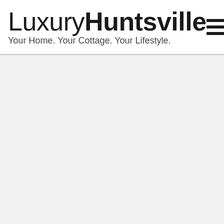LuxuryHuntsville
Your Home. Your Cottage. Your Lifestyle.
[Figure (other): Hamburger menu icon with three horizontal lines]
[Figure (other): Gray content area below header divider, no visible content]